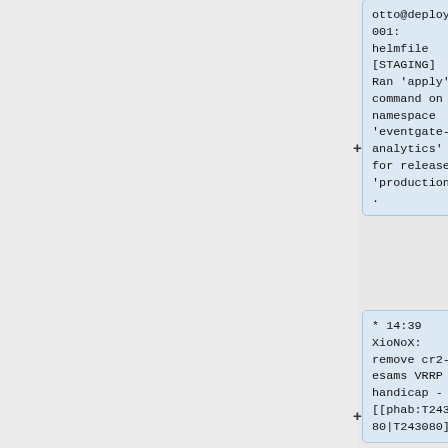otto@deploy1001: helmfile [STAGING] Ran 'apply' command on namespace 'eventgate-analytics' for release 'production'.
* 14:39 XioNoX: remove cr2-esams VRRP handicap - [[phab:T243080|T243080]]
* 14:34